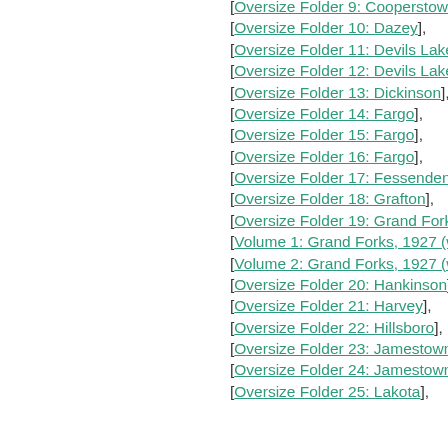[Oversize Folder 9: Cooperstown],
[Oversize Folder 10: Dazey],
[Oversize Folder 11: Devils Lake],
[Oversize Folder 12: Devils Lake],
[Oversize Folder 13: Dickinson],
[Oversize Folder 14: Fargo],
[Oversize Folder 15: Fargo],
[Oversize Folder 16: Fargo],
[Oversize Folder 17: Fessenden],
[Oversize Folder 18: Grafton],
[Oversize Folder 19: Grand Forks],
[Volume 1: Grand Forks, 1927 (w...],
[Volume 2: Grand Forks, 1927 (w...],
[Oversize Folder 20: Hankinson],
[Oversize Folder 21: Harvey],
[Oversize Folder 22: Hillsboro],
[Oversize Folder 23: Jamestown],
[Oversize Folder 24: Jamestown],
[Oversize Folder 25: Lakota],